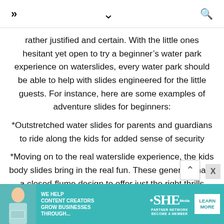» ˅ 🔍
rather justified and certain. With the little ones hesitant yet open to try a beginner's water park experience on waterslides, every water park should be able to help with slides engineered for the little guests. For instance, here are some examples of adventure slides for beginners:
*Outstretched water slides for parents and guardians to ride along the kids for added sense of security
*Moving on to the real waterslide experience, the kids body slides bring in the real fun. These generally have a closed-flume design to offer just the right thrills
*And of course, since these pint-sized rebels get bored in no time, some speedy slides should be there to give
[Figure (infographic): Advertisement banner for SHE Media Partner Network. Teal/turquoise background with woman holding laptop. Text: 'WE HELP CONTENT CREATORS GROW BUSINESSES THROUGH...' with SHE logo and 'LEARN MORE' button.]